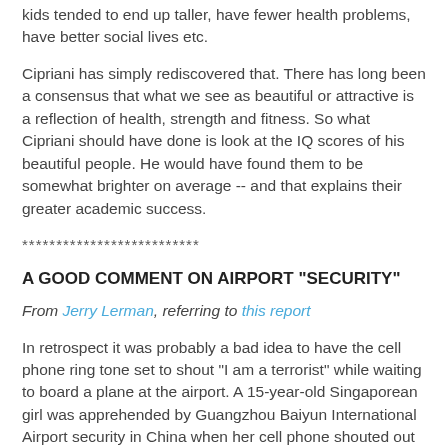kids tended to end up taller, have fewer health problems, have better social lives etc.
Cipriani has simply rediscovered that. There has long been a consensus that what we see as beautiful or attractive is a reflection of health, strength and fitness. So what Cipriani should have done is look at the IQ scores of his beautiful people. He would have found them to be somewhat brighter on average -- and that explains their greater academic success.
**************************
A GOOD COMMENT ON AIRPORT "SECURITY"
From Jerry Lerman, referring to this report
In retrospect it was probably a bad idea to have the cell phone ring tone set to shout "I am a terrorist" while waiting to board a plane at the airport. A 15-year-old Singaporean girl was apprehended by Guangzhou Baiyun International Airport security in China when her cell phone shouted out "I am a